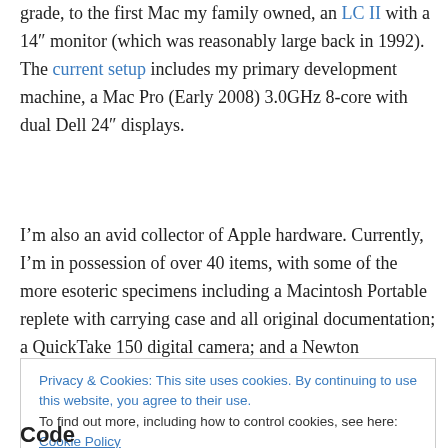grade, to the first Mac my family owned, an LC II with a 14″ monitor (which was reasonably large back in 1992). The current setup includes my primary development machine, a Mac Pro (Early 2008) 3.0GHz 8-core with dual Dell 24″ displays.
I’m also an avid collector of Apple hardware. Currently, I’m in possession of over 40 items, with some of the more esoteric specimens including a Macintosh Portable replete with carrying case and all original documentation; a QuickTake 150 digital camera; and a Newton MessagePad
Privacy & Cookies: This site uses cookies. By continuing to use this website, you agree to their use. To find out more, including how to control cookies, see here: Cookie Policy
Close and accept
Code